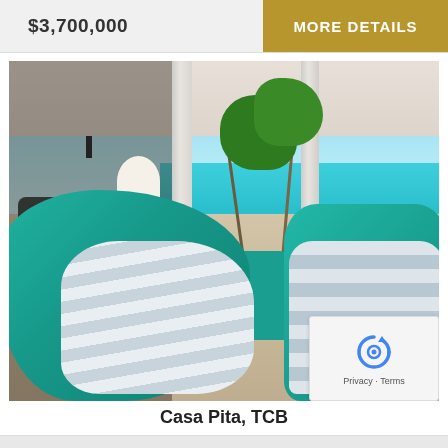$3,700,000
MORE DETAILS
[Figure (photo): Beachfront villa patio with teal wicker furniture, white striped cushions, covered outdoor living area with columns, palm trees, turquoise ocean view, and green lawn — Casa Pita, TCB]
Casa Pita, TCB